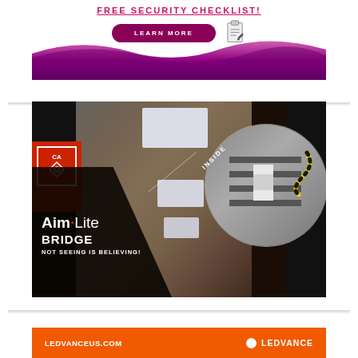[Figure (infographic): Top section showing a 'LEARN MORE' button on a magenta/purple pill-shaped banner with a clipboard/pencil icon, above a purple wave swoosh banner. This appears to be a security checklist advertisement.]
[Figure (photo): AimLite Bridge advertisement. Shows a photo of a dimly lit corridor with ceiling LED panels. In the lower-left, a red block with a CA badge (diamond icon). A black diagonal overlay with AimLite Bridge branding text: 'BRIDGE' and 'NOT SEEING IS BELIEVING!'. A circular zoom inset labeled 'INSIDE' shows close-up of wiring/cable detail with a yellow cable visible.]
[Figure (infographic): Orange banner at the bottom showing 'LEDVANCEUS.COM' on the left and 'LEDVANCE' logo with white circle dot on the right.]